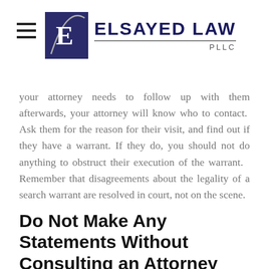[Figure (logo): Elsayed Law PLLC logo with a square icon featuring a stylized E and the firm name]
your attorney needs to follow up with them afterwards, your attorney will know who to contact. Ask them for the reason for their visit, and find out if they have a warrant. If they do, you should not do anything to obstruct their execution of the warrant. Remember that disagreements about the legality of a search warrant are resolved in court, not on the scene.
Do Not Make Any Statements Without Consulting an Attorney